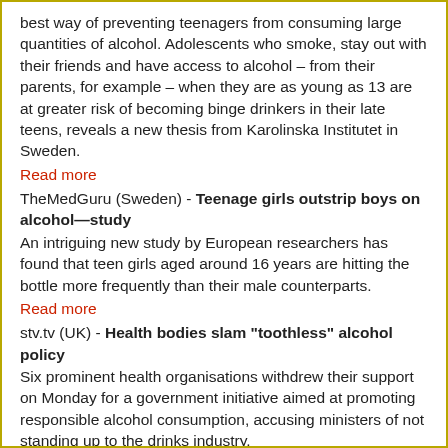best way of preventing teenagers from consuming large quantities of alcohol. Adolescents who smoke, stay out with their friends and have access to alcohol – from their parents, for example – when they are as young as 13 are at greater risk of becoming binge drinkers in their late teens, reveals a new thesis from Karolinska Institutet in Sweden.
Read more
TheMedGuru (Sweden) - Teenage girls outstrip boys on alcohol—study
An intriguing new study by European researchers has found that teen girls aged around 16 years are hitting the bottle more frequently than their male counterparts.
Read more
stv.tv (UK) - Health bodies slam "toothless" alcohol policy
Six prominent health organisations withdrew their support on Monday for a government initiative aimed at promoting responsible alcohol consumption, accusing ministers of not standing up to the drinks industry.
Read more
Reuters - Alcoholic drinks market booming in Muslim Gulf